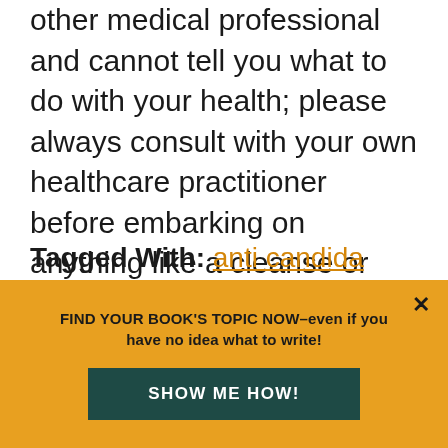other medical professional and cannot tell you what to do with your health; please always consult with your own healthcare practitioner before embarking on anything like a cleanse or detox, and before making any changes to your health [...]
Tagged With: anti candida diet, anti-candida, cleanse, detox, detox diet, diet, Elson Haas, healing foods, healthy, Master Cleanse, nag diet, raw food, sugar free, vegan, vegetarian
FIND YOUR BOOK'S TOPIC NOW–even if you have no idea what to write!
SHOW ME HOW!